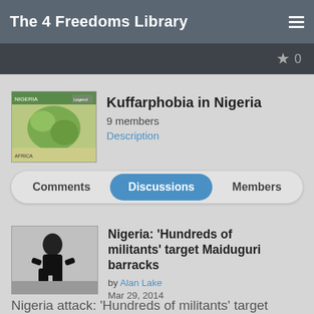The 4 Freedoms Library
★ 0
[Figure (screenshot): Nigeria map thumbnail with green and yellow regions]
Kuffarphobia in Nigeria
9 members
Description
Comments | Discussions | Members
[Figure (photo): Person crouching in black clothing, black and white photo]
Nigeria: 'Hundreds of militants' target Maiduguri barracks
by Alan Lake
Mar 29, 2014
Nigeria attack: 'Hundreds of militants' target Maiduguri barracks
[Figure (photo): Outdoor scene with people and trees, bottom of page]